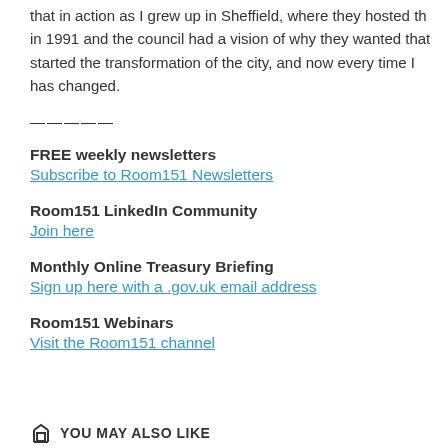that in action as I grew up in Sheffield, where they hosted th… in 1991 and the council had a vision of why they wanted that… started the transformation of the city, and now every time I… has changed.
—————
FREE weekly newsletters
Subscribe to Room151 Newsletters
Room151 LinkedIn Community
Join here
Monthly Online Treasury Briefing
Sign up here with a .gov.uk email address
Room151 Webinars
Visit the Room151 channel
YOU MAY ALSO LIKE